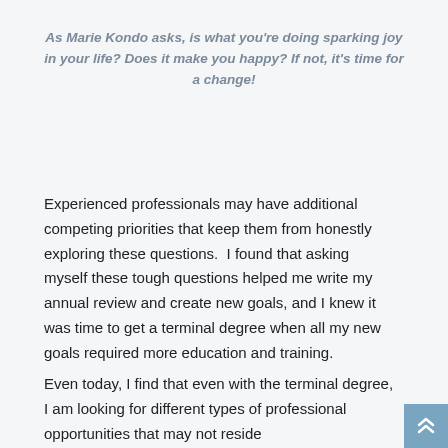As Marie Kondo asks, is what you're doing sparking joy in your life? Does it make you happy? If not, it's time for a change!
Experienced professionals may have additional competing priorities that keep them from honestly exploring these questions.  I found that asking myself these tough questions helped me write my annual review and create new goals, and I knew it was time to get a terminal degree when all my new goals required more education and training.
Even today, I find that even with the terminal degree, I am looking for different types of professional opportunities that may not reside